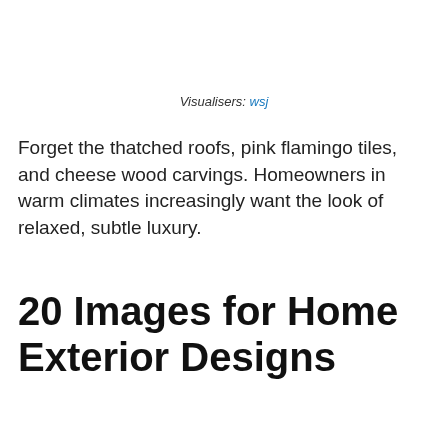Visualisers: wsj
Forget the thatched roofs, pink flamingo tiles, and cheese wood carvings. Homeowners in warm climates increasingly want the look of relaxed, subtle luxury.
20 Images for Home Exterior Designs